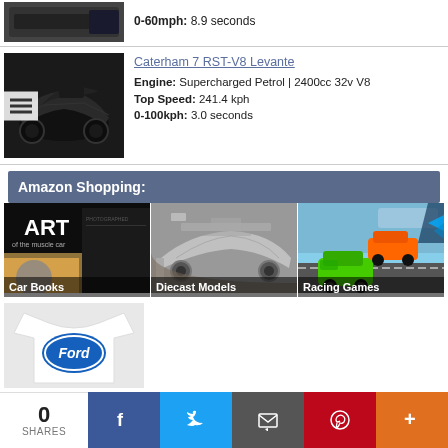[Figure (photo): Partial car entry at top (cropped), dark car image]
0-60mph: 8.9 seconds
[Figure (photo): Caterham 7 RST-V8 Levante black sports car on dark background]
Caterham 7 RST-V8 Levante
Engine: Supercharged Petrol | 2400cc 32v V8
Top Speed: 241.4 kph
0-100kph: 3.0 seconds
Amazon Shopping:
[Figure (photo): Car Books – Art of the Muscle Car book cover]
[Figure (photo): Diecast Models – DeLorean model car]
[Figure (photo): Racing Games – colorful racing cars]
[Figure (photo): Ford branded white long-sleeve shirt]
0 SHARES  [Facebook] [Twitter] [Email] [Pinterest] [More]